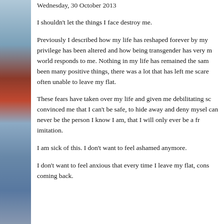Wednesday, 30 October 2013
I shouldn't let the things I face destroy me.
Previously I described how my life has reshaped forever by my privilege has been altered and how being transgender has very much changed the way the world responds to me. Nothing in my life has remained the same. While there have been many positive things, there was a lot that has left me scared and anxious and often unable to leave my flat.
These fears have taken over my life and given me debilitating social anxiety and convinced me that I can't be safe, to hide away and deny myself and that I can never be the person I know I am, that I will only ever be a fraud, a poor imitation.
I am sick of this. I don't want to feel ashamed anymore.
I don't want to feel anxious that every time I leave my flat,cons coming back.